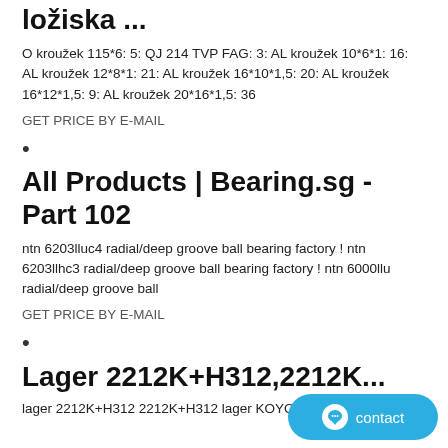ložiska ...
O kroužek 115*6: 5: QJ 214 TVP FAG: 3: AL kroužek 10*6*1: 16: AL kroužek 12*8*1: 21: AL kroužek 16*10*1,5: 20: AL kroužek 16*12*1,5: 9: AL kroužek 20*16*1,5: 36
GET PRICE BY E-MAIL
•
All Products | Bearing.sg - Part 102
ntn 6203lluc4 radial/deep groove ball bearing factory ! ntn 6203llhc3 radial/deep groove ball bearing factory ! ntn 6000llu radial/deep groove ball
GET PRICE BY E-MAIL
•
Lager 2212K+H312,2212K...
lager 2212K+H312 2212K+H312 lager KOYO 2212K+H312 . Self